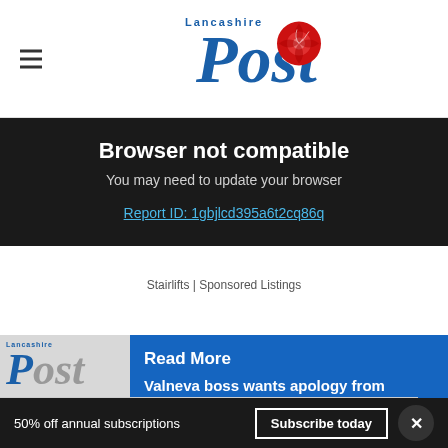Lancashire Post
Browser not compatible
You may need to update your browser
Report ID: 1gbjlcd395a6t2cq86q
Stairlifts | Sponsored Listings
Read More
Valneva boss wants apology from
in Black...
Buy Your Used Car Your Way CarMax
50% off annual subscriptions Subscribe today